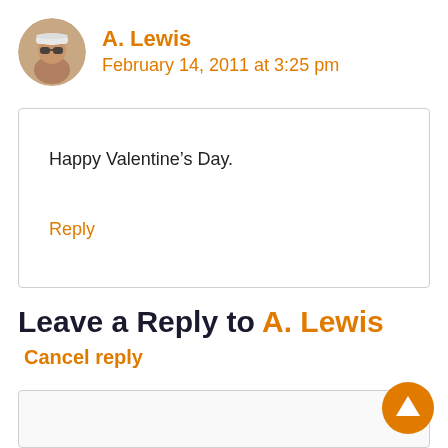[Figure (photo): Round avatar photo of A. Lewis, a person wearing sunglasses and a white cap]
A. Lewis
February 14, 2011 at 3:25 pm
Happy Valentine’s Day.
Reply
Leave a Reply to A. Lewis
Cancel reply